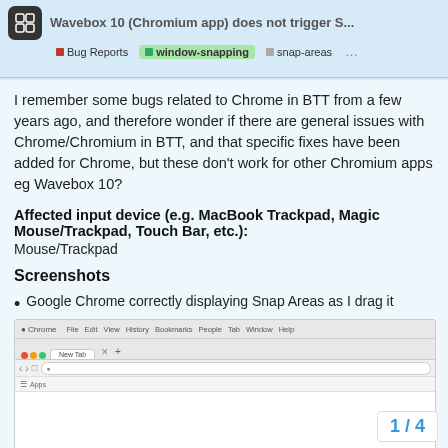Wavebox 10 (Chromium app) does not trigger S... | Bug Reports | window-snapping | snap-areas | ...
I remember some bugs related to Chrome in BTT from a few years ago, and therefore wonder if there are general issues with Chrome/Chromium in BTT, and that specific fixes have been added for Chrome, but these don't work for other Chromium apps eg Wavebox 10?
Affected input device (e.g. MacBook Trackpad, Magic Mouse/Trackpad, Touch Bar, etc.):
Mouse/Trackpad
Screenshots
Google Chrome correctly displaying Snap Areas as I drag it
[Figure (screenshot): Google Chrome browser window showing a new tab page, partially visible as a screenshot.]
1 / 4